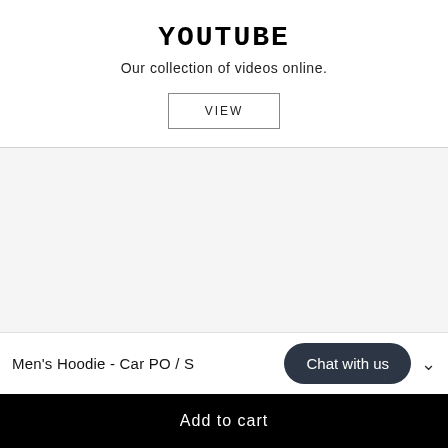YOUTUBE
Our collection of videos online.
VIEW
Men's Hoodie - Car PO / S
Chat with us
Add to cart